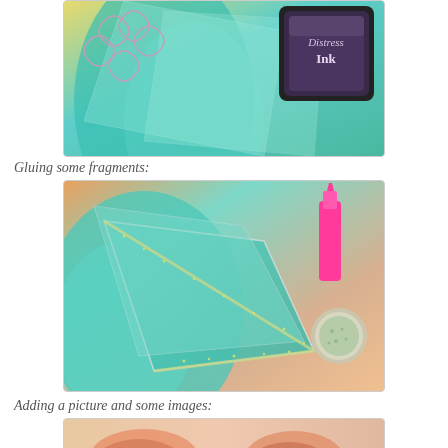[Figure (photo): Craft project photo showing teal/turquoise fabric or paper with decorative swirls at the top, layered transparent sheets, and a Distress Ink stamp pad in purple/black color on the right side, set on a colorful yellow and teal background.]
Gluing some fragments:
[Figure (photo): Craft project photo showing teal layered diamond/triangle shaped paper pieces with glitter glue along the edges, a pink bottle of glue, and a small container of green glitter, all on a colorful mixed-media background.]
Adding a picture and some images:
[Figure (photo): Partial view of a craft project photo showing what appears to be a mixed-media collage with pink/copper toned elements at the bottom edge.]